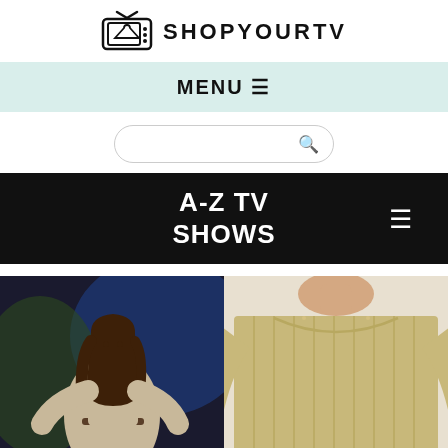SHOPYOURTV
MENU
[Figure (screenshot): Search input bar with magnifying glass icon]
A-Z TV SHOWS
[Figure (photo): Woman with long brown hair wearing a beige knit dress with a belt, standing in front of blue-lit background]
[Figure (photo): Close-up of a beige/gold ribbed knit sweater on a model, showing the neckline and long wide sleeves]